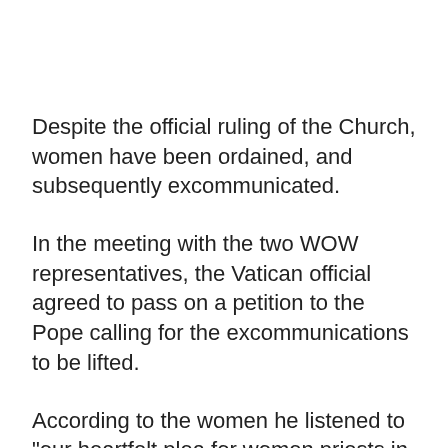Despite the official ruling of the Church, women have been ordained, and subsequently excommunicated.
In the meeting with the two WOW representatives, the Vatican official agreed to pass on a petition to the Pope calling for the excommunications to be lifted.
According to the women he listened to "our heartfelt plea for women priests in our Church".
Related